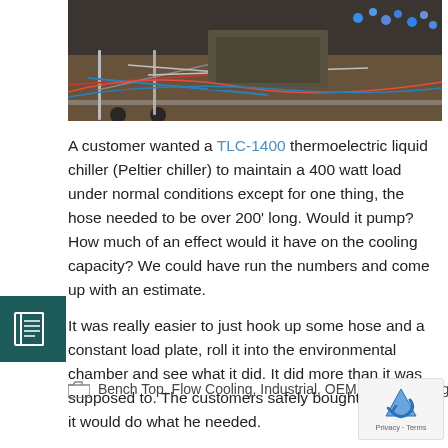[Figure (photo): A photo showing electronic equipment, wiring, and components on a table or cart, viewed from above. Multiple colored wires and circuit boards visible.]
A customer wanted a TLC-1400 thermoelectric liquid chiller (Peltier chiller) to maintain a 400 watt load under normal conditions except for one thing, the hose needed to be over 200’ long. Would it pump? How much of an effect would it have on the cooling capacity? We could have run the numbers and come up with an estimate.
It was really easier to just hook up some hose and a constant load plate, roll it into the environmental chamber and see what it did. It did more than it was supposed to. The customers safely bought it knowing it would do what he needed.
Bench Top, Flow Cooling, Industrial, OEM Manufacturing, Petrochemical, Standard Product, With Control, With Pump